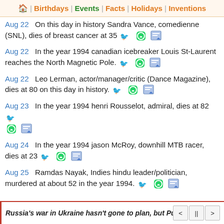🏠 | Birthdays | Events | Facts | Holidays | Inventions
Aug 22   On this day in history Sandra Vance, comedienne (SNL), dies of breast cancer at 35
Aug 22   In the year 1994 canadian icebreaker Louis St-Laurent reaches the North Magnetic Pole.
Aug 22   Leo Lerman, actor/manager/critic (Dance Magazine), dies at 80 on this day in history.
Aug 23   In the year 1994 henri Rousselot, admiral, dies at 82
Aug 24   In the year 1994 jason McRoy, downhill MTB racer, dies at 23
Aug 25   Ramdas Nayak, Indies hindu leader/politician, murdered at about 52 in the year 1994.
Russia's war in Ukraine hasn't gone to plan, but Putinism